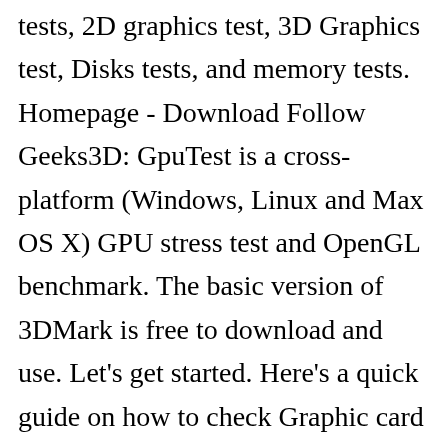tests, 2D graphics test, 3D Graphics test, Disks tests, and memory tests. Homepage - Download Follow Geeks3D: GpuTest is a cross-platform (Windows, Linux and Max OS X) GPU stress test and OpenGL benchmark. The basic version of 3DMark is free to download and use. Let's get started. Here's a quick guide on how to check Graphic card configuration of your Windows 10 machine, to know it better. Therefore, when you are going to buy laptop. GPUs will generally fail the FurMark stress test if there is heat issues, insufficient power to the card, … These are some